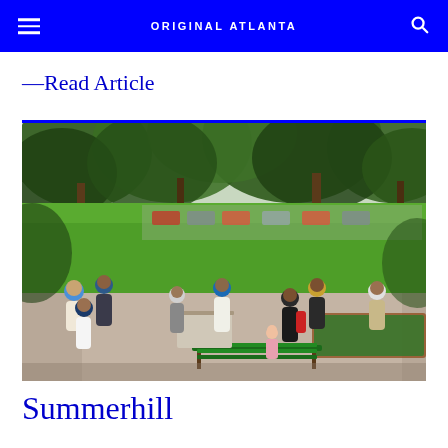ORIGINAL ATLANTA
—Read Article
[Figure (photo): Outdoor park gathering with groups of people socializing on a paved path surrounded by green grass and large trees. A green bench is visible in the foreground.]
Summerhill